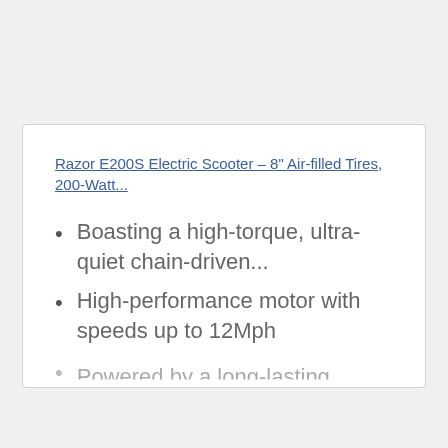Razor E200S Electric Scooter – 8" Air-filled Tires, 200-Watt...
Boasting a high-torque, ultra-quiet chain-driven…
High-performance motor with speeds up to 12Mph
Powered by a long-lasting…